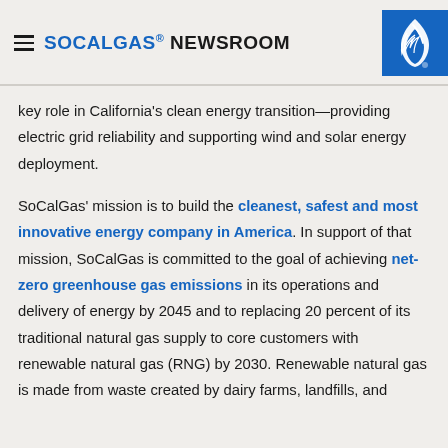≡ SOCALGAS® NEWSROOM
key role in California's clean energy transition—providing electric grid reliability and supporting wind and solar energy deployment.

SoCalGas' mission is to build the cleanest, safest and most innovative energy company in America. In support of that mission, SoCalGas is committed to the goal of achieving net-zero greenhouse gas emissions in its operations and delivery of energy by 2045 and to replacing 20 percent of its traditional natural gas supply to core customers with renewable natural gas (RNG) by 2030. Renewable natural gas is made from waste created by dairy farms, landfills, and